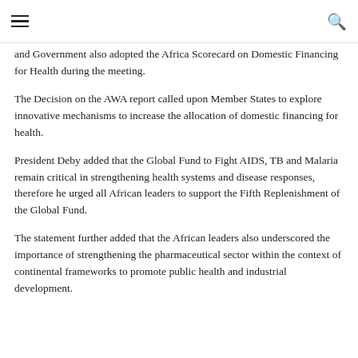≡  🔍
and Government also adopted the Africa Scorecard on Domestic Financing for Health during the meeting.
The Decision on the AWA report called upon Member States to explore innovative mechanisms to increase the allocation of domestic financing for health.
President Deby added that the Global Fund to Fight AIDS, TB and Malaria remain critical in strengthening health systems and disease responses, therefore he urged all African leaders to support the Fifth Replenishment of the Global Fund.
The statement further added that the African leaders also underscored the importance of strengthening the pharmaceutical sector within the context of continental frameworks to promote public health and industrial development.